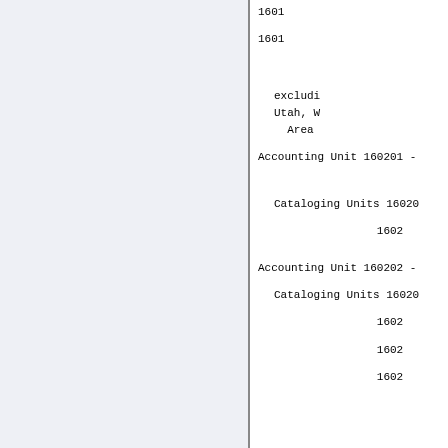1601
1601
excluding Utah, W Area
Accounting Unit 160201 -
Cataloging Units 16020
1602
Accounting Unit 160202 -
Cataloging Units 16020
1602
1602
1602